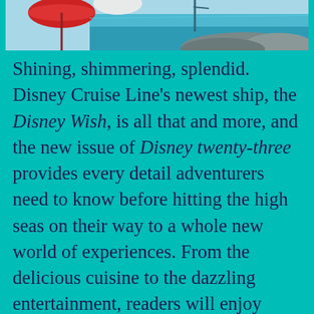[Figure (photo): Partial photo showing a beach/coastal scene with a red umbrella on the left, rocky shoreline on the right, and blue sea/sky in the background]
Shining, shimmering, splendid. Disney Cruise Line's newest ship, the Disney Wish, is all that and more, and the new issue of Disney twenty-three provides every detail adventurers need to know before hitting the high seas on their way to a whole new world of experiences. From the delicious cuisine to the dazzling entertainment, readers will enjoy spectacular photographs and artwork (including the publication's exclusive cover) while hearing from the Walt Disney Imagineers and creatives